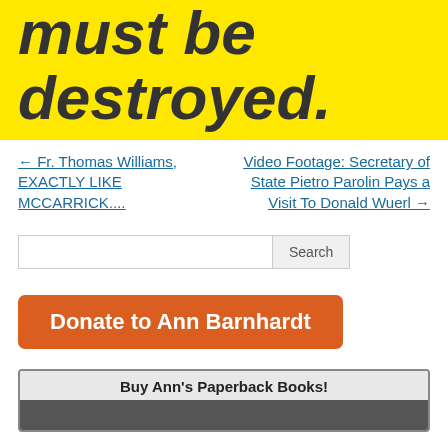[Figure (other): Yellow banner with italic bold dark text reading 'must be destroyed.']
← Fr. Thomas Williams, EXACTLY LIKE MCCARRICK....
Video Footage: Secretary of State Pietro Parolin Pays a Visit To Donald Wuerl →
[Figure (other): Search bar with text input and Search button]
[Figure (other): Orange donate button labeled 'Donate to Ann Barnhardt']
[Figure (other): Box with header 'Buy Ann's Paperback Books!' and a dark image strip below]